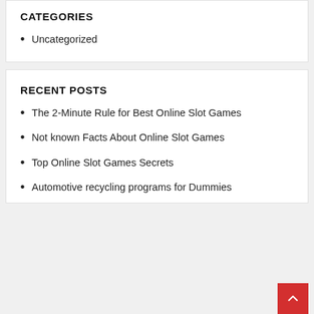CATEGORIES
Uncategorized
RECENT POSTS
The 2-Minute Rule for Best Online Slot Games
Not known Facts About Online Slot Games
Top Online Slot Games Secrets
Automotive recycling programs for Dummies